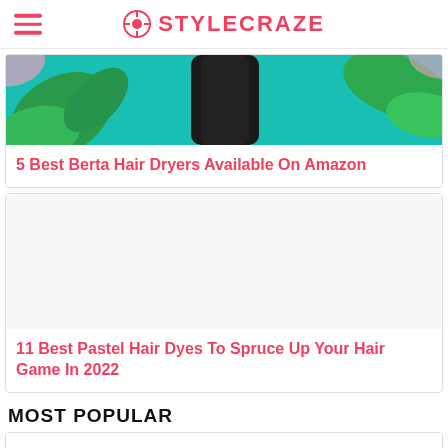STYLECRAZE
[Figure (photo): Partial top image showing teal background with tropical leaves and dark hair — cropped top of article card for '5 Best Berta Hair Dryers Available On Amazon']
5 Best Berta Hair Dryers Available On Amazon
[Figure (photo): White/blank image placeholder for '11 Best Pastel Hair Dyes To Spruce Up Your Hair Game In 2022' article card]
11 Best Pastel Hair Dyes To Spruce Up Your Hair Game In 2022
MOST POPULAR
[Figure (photo): Blank/white card bottom — partial view of a MOST POPULAR article card]